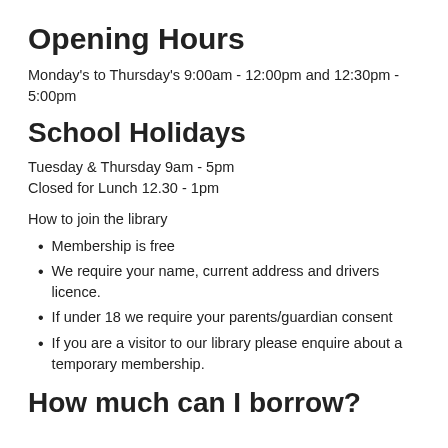Opening Hours
Monday's to Thursday's 9:00am - 12:00pm and 12:30pm - 5:00pm
School Holidays
Tuesday & Thursday 9am - 5pm
Closed for Lunch 12.30 - 1pm
How to join the library
Membership is free
We require your name, current address and drivers licence.
If under 18 we require your parents/guardian consent
If you are a visitor to our library please enquire about a temporary membership.
How much can I borrow?